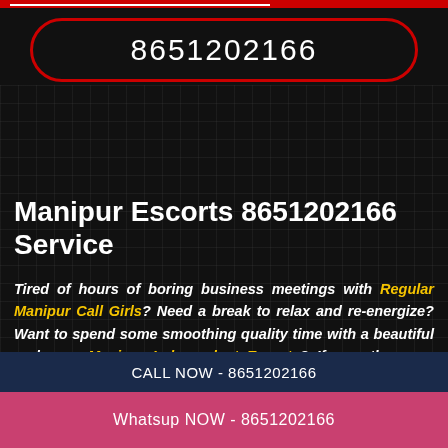8651202166
Manipur Escorts 8651202166 Service
Tired of hours of boring business meetings with Regular Manipur Call Girls? Need a break to relax and re-energize? Want to spend some smoothing quality time with a beautiful and sexy Manipur Independent Escort ? If yes, then you have reached the right destination finally. We are one of the best agencies offering the best services for independent
CALL NOW - 8651202166
Whatsup NOW - 8651202166